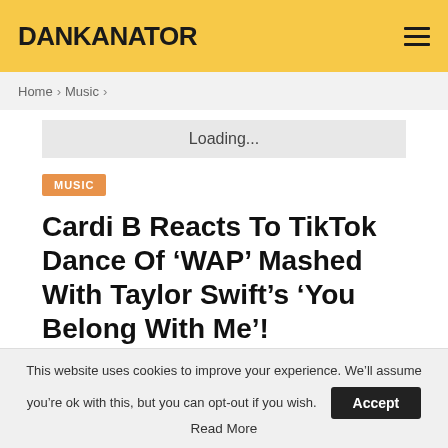DANKANATOR
Home > Music >
Loading...
MUSIC
Cardi B Reacts To TikTok Dance Of ‘WAP’ Mashed With Taylor Swift’s ‘You Belong With Me’!
By Nashmia Adnan — Last updated Jul 27, 2021
This website uses cookies to improve your experience. We'll assume you're ok with this, but you can opt-out if you wish. Accept Read More